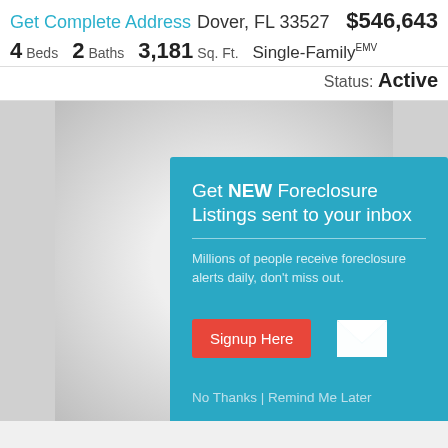Get Complete Address Dover, FL 33527 $546,643
4 Beds  2 Baths  3,181 Sq. Ft.  Single-Family EMV
Status: Active
[Figure (screenshot): Blurred property listing page background with column layout]
Get NEW Foreclosure Listings sent to your inbox
Millions of people receive foreclosure alerts daily, don't miss out.
Signup Here
No Thanks | Remind Me Later